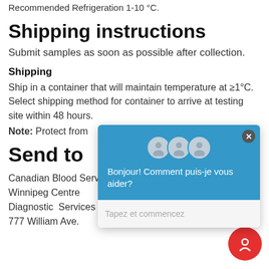Recommended Refrigeration 1-10 °C.
Shipping instructions
Submit samples as soon as possible after collection.
Shipping
Ship in a container that will maintain temperature at ≥1°C. Select shipping method for container to arrive at testing site within 48 hours.
Note: Protect from [light/freeze — partially obscured by popup]
Send to
Canadian Blood Services
Winnipeg Centre
Diagnostic Services Crossmatch Laboratory
777 William Ave.
[Figure (screenshot): Chat popup overlay with blue header showing three avatar silhouettes, message 'Bonjour! Comment puis-je vous aider?', a close button, and a text input field with placeholder 'Tapez et commencez'. A red circular chat button is also visible in the bottom right corner.]